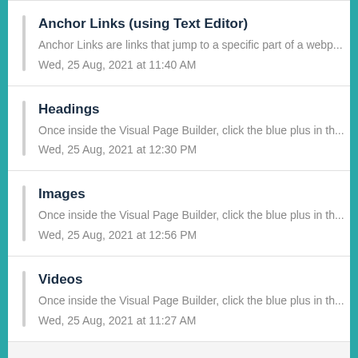Anchor Links (using Text Editor)
Anchor Links are links that jump to a specific part of a webp...
Wed, 25 Aug, 2021 at 11:40 AM
Headings
Once inside the Visual Page Builder, click the blue plus in th...
Wed, 25 Aug, 2021 at 12:30 PM
Images
Once inside the Visual Page Builder, click the blue plus in th...
Wed, 25 Aug, 2021 at 12:56 PM
Videos
Once inside the Visual Page Builder, click the blue plus in th...
Wed, 25 Aug, 2021 at 11:27 AM